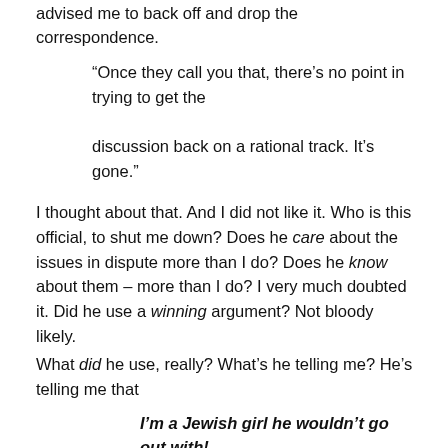advised me to back off and drop the correspondence.
“Once they call you that, there’s no point in trying to get the discussion back on a rational track. It’s gone.”
I thought about that. And I did not like it. Who is this official, to shut me down? Does he care about the issues in dispute more than I do? Does he know about them – more than I do? I very much doubted it. Did he use a winning argument? Not bloody likely.
What did he use, really? What’s he telling me? He’s telling me that
I’m a Jewish girl he wouldn’t go out with!